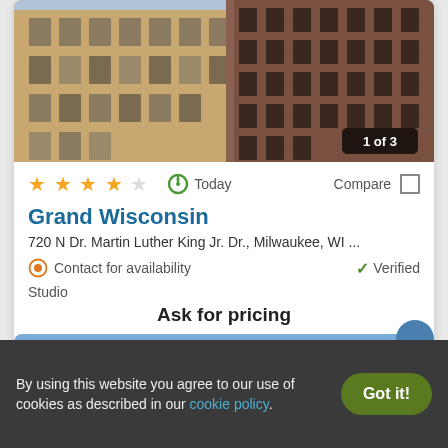[Figure (photo): Exterior photo of a tall multi-story brick building (Grand Wisconsin), cropped, showing building facade with windows. Badge reading '1 of 3' in bottom right corner.]
★ ★ ★ ★ ★   Today   Compare
Grand Wisconsin
720 N Dr. Martin Luther King Jr. Dr., Milwaukee, WI ...
Contact for availability    ✓ Verified
Studio
Ask for pricing
View Details   Contact Property
By using this website you agree to our use of cookies as described in our cookie policy.
Got it!